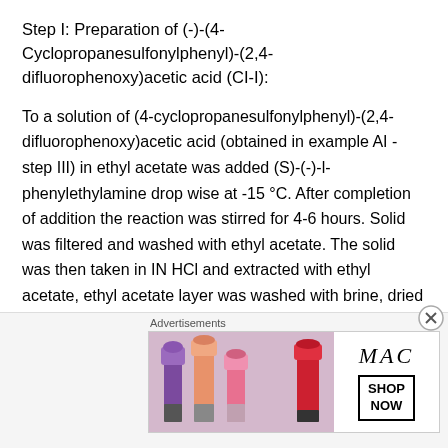Step I: Preparation of (-)-(4-Cyclopropanesulfonylphenyl)-(2,4- difluorophenoxy)acetic acid (CI-I):
To a solution of (4-cyclopropanesulfonylphenyl)-(2,4-difluorophenoxy)acetic acid (obtained in example AI -step III) in ethyl acetate was added (S)-(-)-I-phenylethylamine drop wise at -15 °C. After completion of addition the reaction was stirred for 4-6 hours. Solid was filtered and washed with ethyl acetate. The solid was then taken in IN HCl and extracted with ethyl acetate, ethyl acetate layer was washed with brine, dried over anhydrous sodium sulfate. Solvent was removed under reduced pressure to obtain (-)-(4- cyclopropanesulfonylphenyl)-(2,4-
[Figure (other): Advertisement banner for MAC cosmetics showing lipsticks and 'SHOP NOW' button]